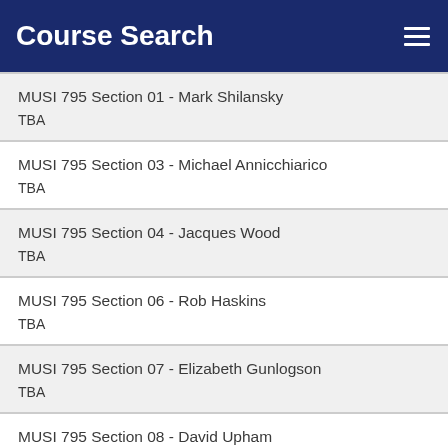Course Search
MUSI 795 Section 01 - Mark Shilansky
TBA
MUSI 795 Section 03 - Michael Annicchiarico
TBA
MUSI 795 Section 04 - Jacques Wood
TBA
MUSI 795 Section 06 - Rob Haskins
TBA
MUSI 795 Section 07 - Elizabeth Gunlogson
TBA
MUSI 795 Section 08 - David Upham
TBA